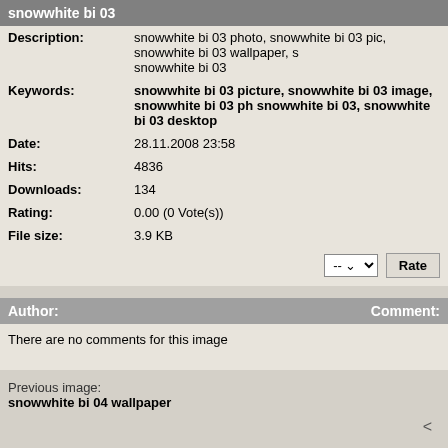snowwhite bi 03
| Description: | snowwhite bi 03 photo, snowwhite bi 03 pic, snowwhite bi 03 wallpaper, s snowwhite bi 03 |
| Keywords: | snowwhite bi 03 picture, snowwhite bi 03 image, snowwhite bi 03 ph snowwhite bi 03, snowwhite bi 03 desktop |
| Date: | 28.11.2008 23:58 |
| Hits: | 4836 |
| Downloads: | 134 |
| Rating: | 0.00 (0 Vote(s)) |
| File size: | 3.9 KB |
| Author: | Comment: |
| --- | --- |
| There are no comments for this image |  |
Previous image:
snowwhite bi 04 wallpaper
All characters and images displayed on this page © Walt Disney Company, all rights personal, non-profit purposes only. I am not affiliated
Contact
Also You can find Yacht Pictures , Disney Pictures, Cartoon Pict